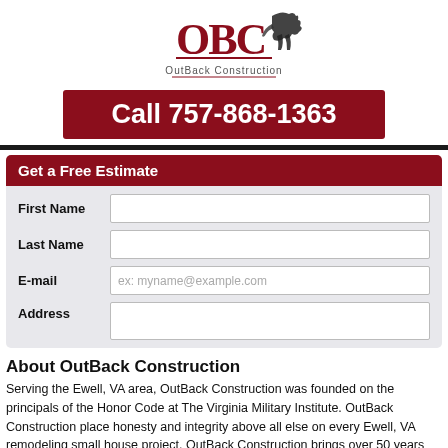[Figure (logo): OBC OutBack Construction logo with silhouette of running animal]
Call 757-868-1363
Get a Free Estimate
First Name
Last Name
E-mail
Address
About OutBack Construction
Serving the Ewell, VA area, OutBack Construction was founded on the principals of the Honor Code at The Virginia Military Institute. OutBack Construction place honesty and integrity above all else on every Ewell, VA remodeling small house project. OutBack Construction brings over 50 years combined experience to the table on your remodeling small house project. OutBack Construction will work with you step by step from the beginning of the remodeling small house process through to the finished product. In the Ewell, VA area call today with details on your remodeling